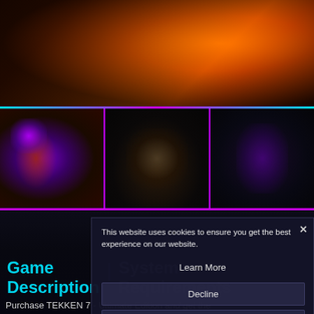[Figure (screenshot): Top hero banner showing a video game character surrounded by fire and smoke effects on dark background]
[Figure (screenshot): Three thumbnail screenshots of TEKKEN 7 gameplay: left shows character with purple energy and fire, center shows combat scene, right shows character with purple energy effects]
[Figure (screenshot): Dark atmospheric background scene with dim landscape]
This website uses cookies to ensure you get the best experience on our website.
Learn More
Decline
Allow All
Game Description
System Requirements
Purchase TEKKEN 7 - Ultimate Edition and get the